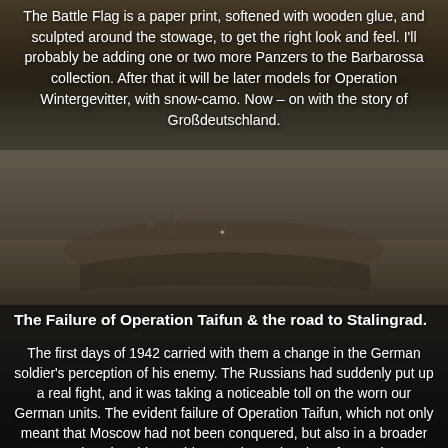The Battle Flag is a paper print, softened with wooden glue, and sculpted around the stowage, to get the right look and feel. I'll probably be adding one or two more Panzers to the Barbarossa collection. After that it will be later models for Operation Wintergevitter, with snow-camo. Now – on with the story of Großdeutschland.
[Figure (illustration): A historical battle scene painting showing soldiers in combat with flags and figures in a misty, dusty landscape.]
The Failure of Operation Taifun & the road to Stalingrad.
The first days of 1942 carried with them a change in the German soldier's perception of his enemy. The Russians had suddenly put up a real fight, and it was taking a noticeable toll on the worn our German units. The evident failure of Operation Taifun, which not only meant that Moscow had not been conquered, but also in a broader perspective, that this would mean the prolonging of a costly war, resulted in Hitler sacking all commanders, including Guderian, and announcing himself as supreme commander of the Army.